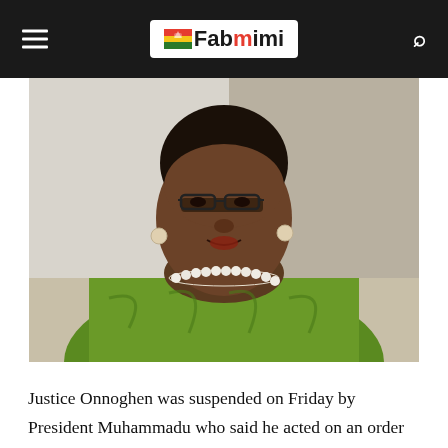Fabmimi
[Figure (photo): Portrait photo of a woman wearing glasses, a green patterned dress, a pearl necklace, and pearl earrings, speaking or presenting against a light background.]
Justice Onnoghen was suspended on Friday by President Muhammadu who said he acted on an order of Code of Conduct Tribunal, CCT.